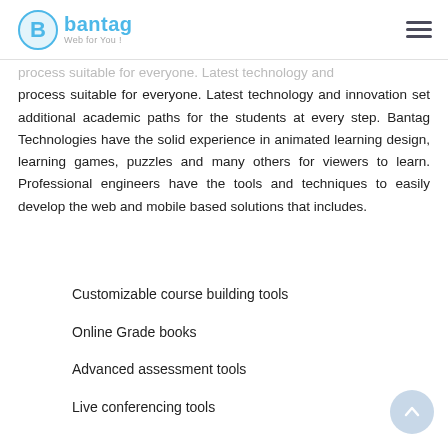bantag Web for You!
process suitable for everyone. Latest technology and innovation set additional academic paths for the students at every step. Bantag Technologies have the solid experience in animated learning design, learning games, puzzles and many others for viewers to learn. Professional engineers have the tools and techniques to easily develop the web and mobile based solutions that includes.
Customizable course building tools
Online Grade books
Advanced assessment tools
Live conferencing tools